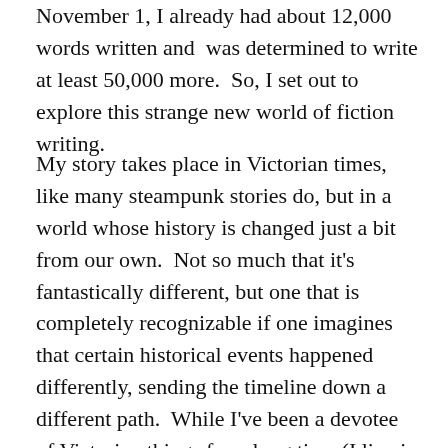November 1, I already had about 12,000 words written and was determined to write at least 50,000 more. So, I set out to explore this strange new world of fiction writing.
My story takes place in Victorian times, like many steampunk stories do, but in a world whose history is changed just a bit from our own. Not so much that it's fantastically different, but one that is completely recognizable if one imagines that certain historical events happened differently, sending the timeline down a different path. While I've been a devotee of Victorian things for a long time (I live in a house built in 1880.), building my novel's world required lots of research, something that NaNoWriMo discourages as getting in the way of the Almighty Daily Word